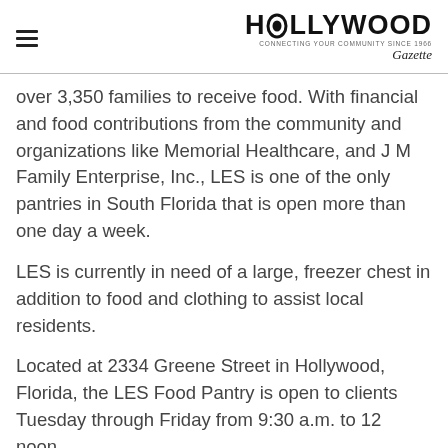HOLLYWOOD Gazette — Connecting Your Community Since 1966
over 3,350 families to receive food. With financial and food contributions from the community and organizations like Memorial Healthcare, and J M Family Enterprise, Inc., LES is one of the only pantries in South Florida that is open more than one day a week.
LES is currently in need of a large, freezer chest in addition to food and clothing to assist local residents.
Located at 2334 Greene Street in Hollywood, Florida, the LES Food Pantry is open to clients Tuesday through Friday from 9:30 a.m. to 12 noon.
If you are interested in donating food or clothing to